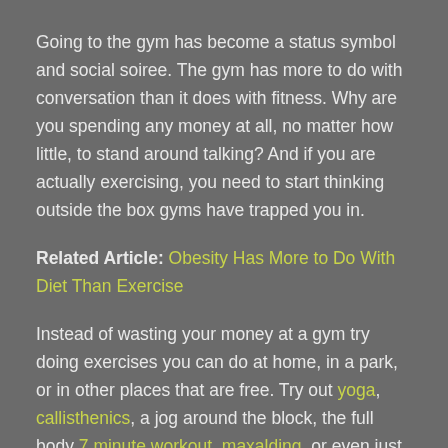Going to the gym has become a status symbol and social soiree. The gym has more to do with conversation than it does with fitness. Why are you spending any money at all, no matter how little, to stand around talking? And if you are actually exercising, you need to start thinking outside the box gyms have trapped you in.
Related Article: Obesity Has More to Do With Diet Than Exercise
Instead of wasting your money at a gym try doing exercises you can do at home, in a park, or in other places that are free. Try out yoga, callisthenics, a jog around the block, the full body 7 minute workout, maxalding, or even just going for a walk.